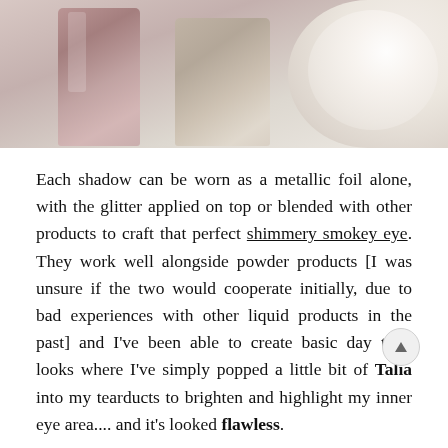[Figure (photo): Cropped top portion of photo showing glittery makeup products including what appears to be shimmer/glitter eyeshadows in containers against a light background]
Each shadow can be worn as a metallic foil alone, with the glitter applied on top or blended with other products to craft that perfect shimmery smokey eye. They work well alongside powder products [I was unsure if the two would cooperate initially, due to bad experiences with other liquid products in the past] and I've been able to create basic day time looks where I've simply popped a little bit of Talia into my tearducts to brighten and highlight my inner eye area.... and it's looked flawless.
And this is on me.. like, I'm by no means bad at makeup, but I'm not exactly a pro MUA and I defo